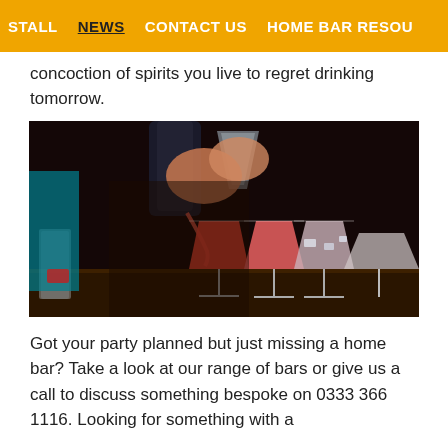STALL  NEWS  CONTACT US  HOME BAR RESOU
concoction of spirits you live to regret drinking tomorrow.
[Figure (photo): A bartender pouring a cocktail from a shaker into a martini glass, with several other martini glasses filled with pink/red cocktails lined up on a bar.]
Got your party planned but just missing a home bar? Take a look at our range of bars or give us a call to discuss something bespoke on 0333 366 1116. Looking for something with a